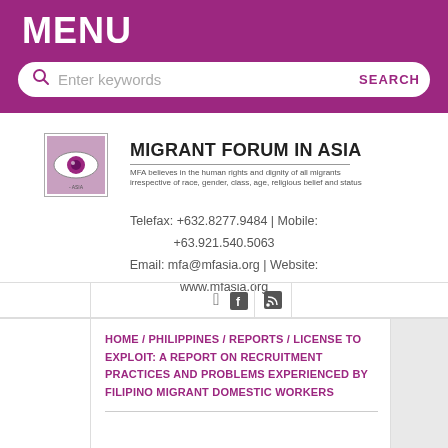MENU
Enter keywords  SEARCH
[Figure (logo): Migrant Forum in Asia logo with eye graphic]
MIGRANT FORUM IN ASIA
MFA believes in the human rights and dignity of all migrants irrespective of race, gender, class, age, religious belief and status
Telefax: +632.8277.9484 | Mobile: +63.921.540.5063
Email: mfa@mfasia.org | Website: www.mfasia.org
HOME / PHILIPPINES / REPORTS / LICENSE TO EXPLOIT: A REPORT ON RECRUITMENT PRACTICES AND PROBLEMS EXPERIENCED BY FILIPINO MIGRANT DOMESTIC WORKERS